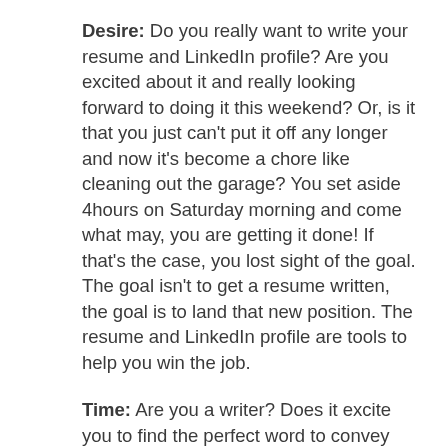Desire: Do you really want to write your resume and LinkedIn profile? Are you excited about it and really looking forward to doing it this weekend? Or, is it that you just can't put it off any longer and now it's become a chore like cleaning out the garage? You set aside 4hours on Saturday morning and come what may, you are getting it done! If that's the case, you lost sight of the goal. The goal isn't to get a resume written, the goal is to land that new position. The resume and LinkedIn profile are tools to help you win the job.
Time: Are you a writer? Does it excite you to find the perfect word to convey the exact meaning? Do you frequently look for alternative words in a dictionary or thesaurus? It takes much more time to write tight, concise, and targeted content than longer content. As the saying goes, if